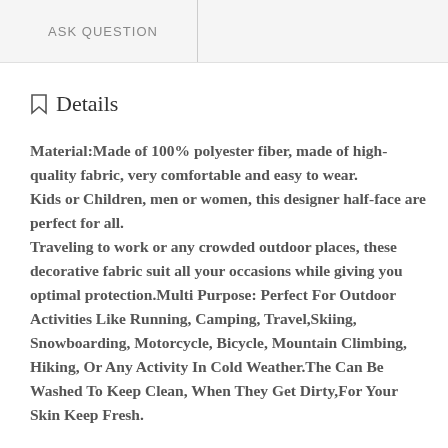ASK QUESTION
Details
Material:Made of 100% polyester fiber, made of high-quality fabric, very comfortable and easy to wear. Kids or Children, men or women, this designer half-face are perfect for all. Traveling to work or any crowded outdoor places, these decorative fabric suit all your occasions while giving you optimal protection.Multi Purpose: Perfect For Outdoor Activities Like Running, Camping, Travel,Skiing, Snowboarding, Motorcycle, Bicycle, Mountain Climbing, Hiking, Or Any Activity In Cold Weather.The Can Be Washed To Keep Clean, When They Get Dirty,For Your Skin Keep Fresh.